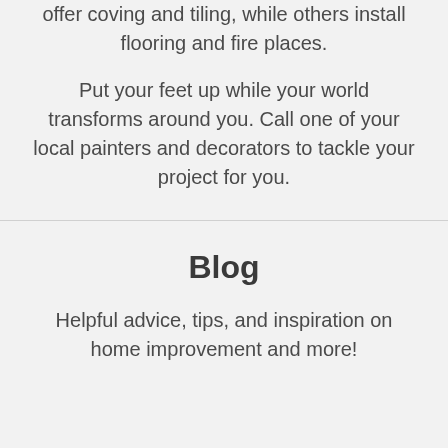offer coving and tiling, while others install flooring and fire places.
Put your feet up while your world transforms around you. Call one of your local painters and decorators to tackle your project for you.
Blog
Helpful advice, tips, and inspiration on home improvement and more!